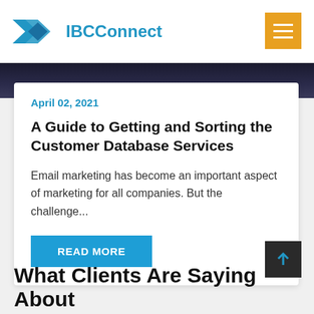IBCConnect
[Figure (screenshot): Dark space/night background image strip]
April 02, 2021
A Guide to Getting and Sorting the Customer Database Services
Email marketing has become an important aspect of marketing for all companies. But the challenge...
READ MORE
What Clients Are Saying About